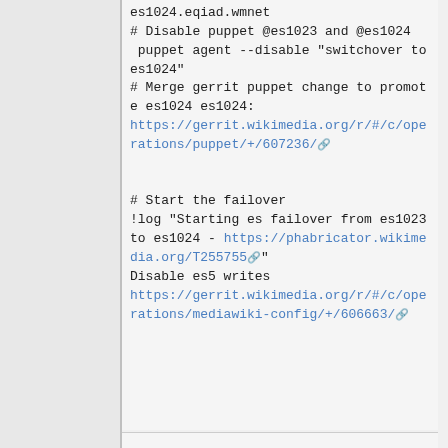es1024.eqiad.wmnet
# Disable puppet @es1023 and @es1024
 puppet agent --disable "switchover to es1024"
# Merge gerrit puppet change to promote es1024 es1024:
https://gerrit.wikimedia.org/r/#/c/operations/puppet/+/607236/

# Start the failover
!log "Starting es failover from es1023 to es1024 - https://phabricator.wikimedia.org/T255755"
Disable es5 writes
https://gerrit.wikimedia.org/r/#/c/operations/mediawiki-config/+/606663/